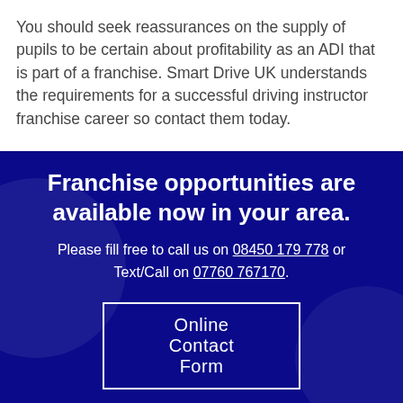You should seek reassurances on the supply of pupils to be certain about profitability as an ADI that is part of a franchise. Smart Drive UK understands the requirements for a successful driving instructor franchise career so contact them today.
Franchise opportunities are available now in your area.
Please fill free to call us on 08450 179 778 or Text/Call on 07760 767170.
Online Contact Form